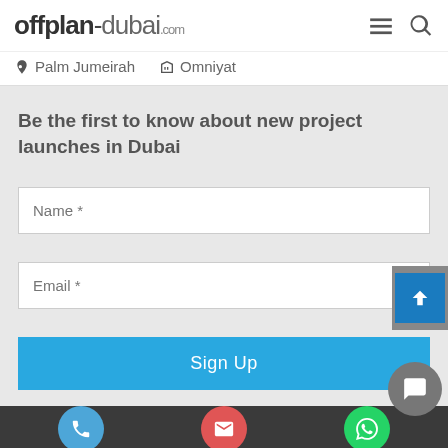offplan-dubai.com
Palm Jumeirah  Omniyat
Be the first to know about new project launches in Dubai
Name *
Email *
Sign Up